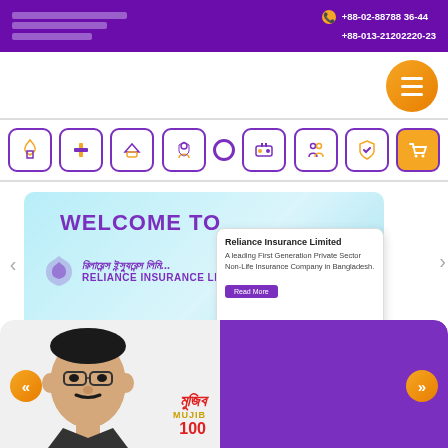Reliance Insurance Limited | +88-02-88788 36-44 | +88-013-21202220-23
[Figure (screenshot): Navigation icon bar with 9 insurance category icons in purple rounded squares]
[Figure (screenshot): Website slider banner: WELCOME TO Reliance Insurance Limited with popup box reading: Reliance Insurance Limited - A leading First Generation Private Sector Non-Life Insurance Company in Bangladesh. Read More button.]
[Figure (infographic): Bottom promotional banner featuring Mujib 100 portrait illustration on left, purple background on right, with orange navigation arrows]